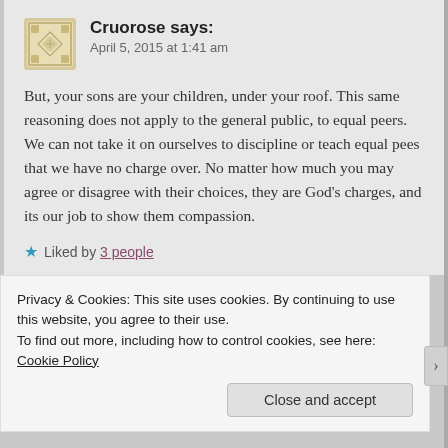Cruorose says: April 5, 2015 at 1:41 am
But, your sons are your children, under your roof. This same reasoning does not apply to the general public, to equal peers. We can not take it on ourselves to discipline or teach equal pees that we have no charge over. No matter how much you may agree or disagree with their choices, they are God's charges, and its our job to show them compassion.
★ Liked by 3 people
Privacy & Cookies: This site uses cookies. By continuing to use this website, you agree to their use. To find out more, including how to control cookies, see here: Cookie Policy
Close and accept